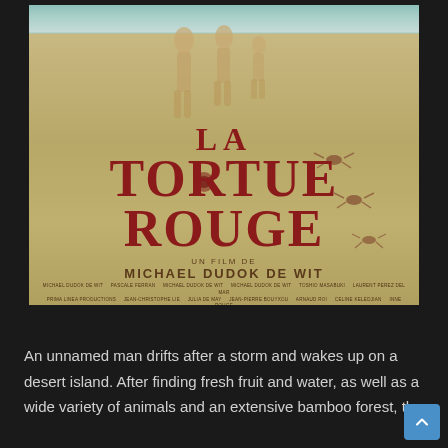[Figure (photo): Movie poster for 'La Tortue Rouge' (The Red Turtle), a film by Michael Dudok de Wit. The poster shows upside-down reflections of human figures on a sandy beach with water at the top. Small crabs are visible on the right side. The title 'LA TORTUE ROUGE' appears in large dark red serif letters in the center, with 'UN FILM DE' above and 'MICHAEL DUDOK DE WIT' in bold below. Credits text appears at the bottom of the poster.]
An unnamed man drifts after a storm and wakes up on a desert island. After finding fresh fruit and water, as well as a wide variety of animals and an extensive bamboo forest, the